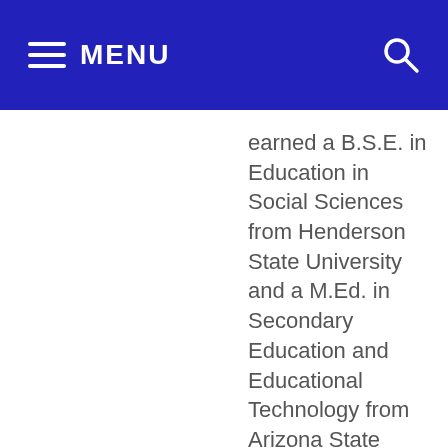MENU
earned a B.S.E. in Education in Social Sciences from Henderson State University and a M.Ed. in Secondary Education and Educational Technology from Arizona State University.